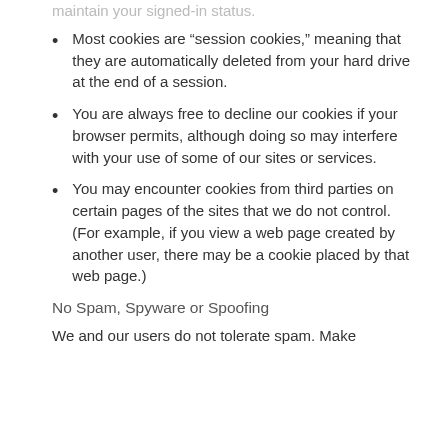Most cookies are “session cookies,” meaning that they are automatically deleted from your hard drive at the end of a session.
You are always free to decline our cookies if your browser permits, although doing so may interfere with your use of some of our sites or services.
You may encounter cookies from third parties on certain pages of the sites that we do not control. (For example, if you view a web page created by another user, there may be a cookie placed by that web page.)
No Spam, Spyware or Spoofing
We and our users do not tolerate spam. Make